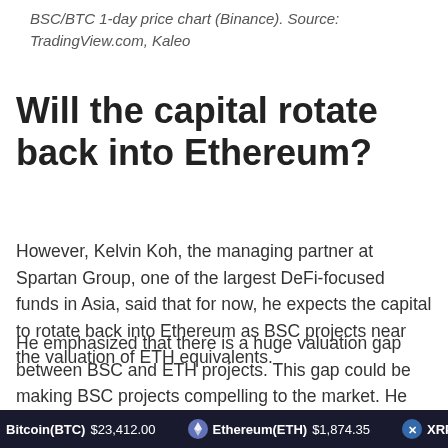BSC/BTC 1-day price chart (Binance). Source: TradingView.com, Kaleo
Will the capital rotate back into Ethereum?
However, Kelvin Koh, the managing partner at Spartan Group, one of the largest DeFi-focused funds in Asia, said that for now, he expects the capital to rotate back into Ethereum as BSC projects near the valuation of ETH equivalents.
He emphasized that there is a huge valuation gap between BSC and ETH projects. This gap could be making BSC projects compelling to the market. He said:
Bitcoin(BTC) $23,412.00   Ethereum(ETH) $1,874.35   XRP(X